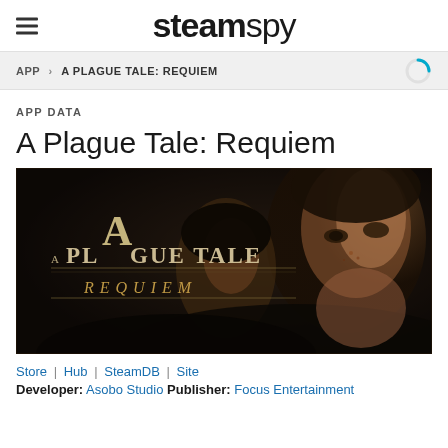steamspy
APP > A PLAGUE TALE: REQUIEM
APP DATA
A Plague Tale: Requiem
[Figure (photo): A Plague Tale: Requiem game cover art showing two young characters against a dark background with the game title in ornate golden lettering]
Store | Hub | SteamDB | Site
Developer: Asobo Studio Publisher: Focus Entertainment